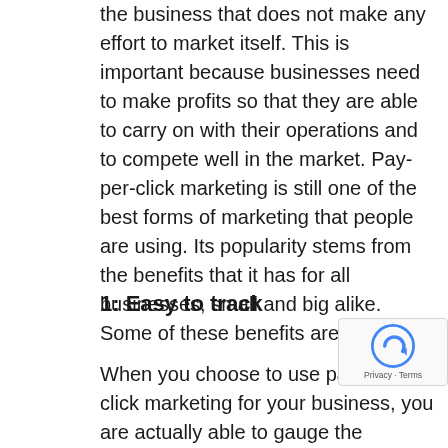the business that does not make any effort to market itself. This is important because businesses need to make profits so that they are able to carry on with their operations and to compete well in the market. Pay-per-click marketing is still one of the best forms of marketing that people are using. Its popularity stems from the benefits that it has for all businesses, small and big alike. Some of these benefits are:
1: Easy to track
When you choose to use pay-per-click marketing for your business, you are actually able to gauge the success of this marketing strategy. This is because you can establish if the targets that you have set have been reached. This is aided by the